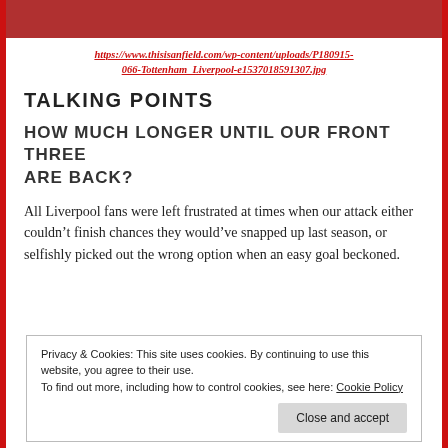[Figure (photo): Sports photo strip at top of page showing football/soccer players in red jerseys]
https://www.thisisanfield.com/wp-content/uploads/P180915-066-Tottenham_Liverpool-e1537018591307.jpg
TALKING POINTS
HOW MUCH LONGER UNTIL OUR FRONT THREE ARE BACK?
All Liverpool fans were left frustrated at times when our attack either couldn’t finish chances they would’ve snapped up last season, or selfishly picked out the wrong option when an easy goal beckoned.
Privacy & Cookies: This site uses cookies. By continuing to use this website, you agree to their use.
To find out more, including how to control cookies, see here: Cookie Policy